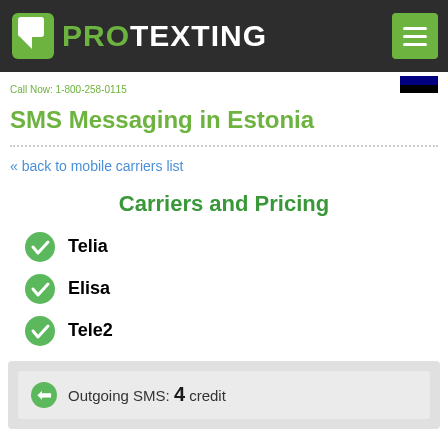PROTEXTING — Call Now: 1-800-258-0115
SMS Messaging in Estonia
« back to mobile carriers list
Carriers and Pricing
Telia
Elisa
Tele2
Outgoing SMS: 4 credit